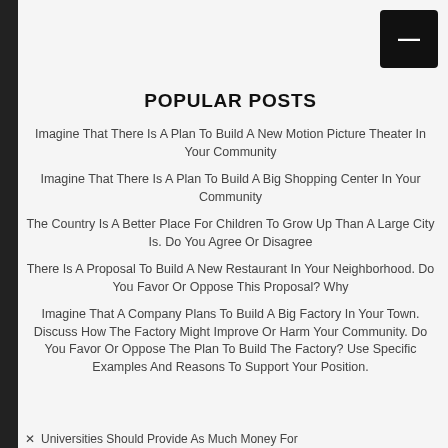POPULAR POSTS
Imagine That There Is A Plan To Build A New Motion Picture Theater In Your Community
Imagine That There Is A Plan To Build A Big Shopping Center In Your Community
The Country Is A Better Place For Children To Grow Up Than A Large City Is. Do You Agree Or Disagree
There Is A Proposal To Build A New Restaurant In Your Neighborhood. Do You Favor Or Oppose This Proposal? Why
Imagine That A Company Plans To Build A Big Factory In Your Town. Discuss How The Factory Might Improve Or Harm Your Community. Do You Favor Or Oppose The Plan To Build The Factory? Use Specific Examples And Reasons To Support Your Position.
Universities Should Provide As Much Money For…